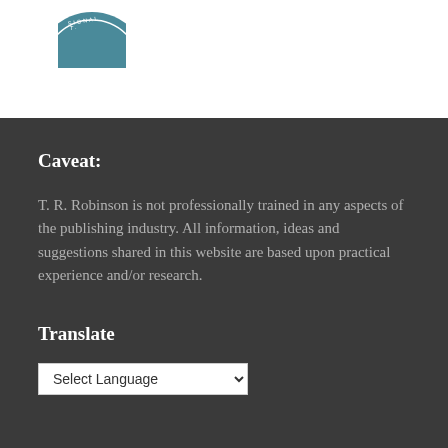[Figure (logo): Circular logo/badge, partially visible, teal/blue color with text around the border]
Caveat:
T. R. Robinson is not professionally trained in any aspects of the publishing industry. All information, ideas and suggestions shared in this website are based upon practical experience and/or research.
Translate
Select Language